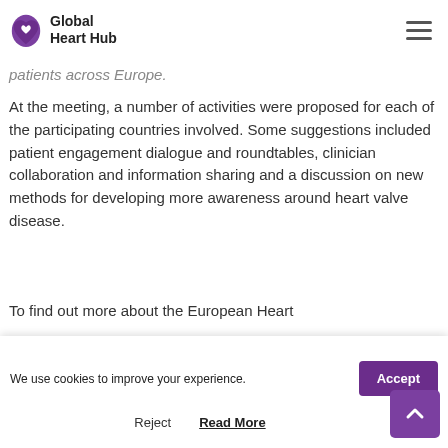Global Heart Hub
patients across Europe.
At the meeting, a number of activities were proposed for each of the participating countries involved. Some suggestions included patient engagement dialogue and roundtables, clinician collaboration and information sharing and a discussion on new methods for developing more awareness around heart valve disease.
To find out more about the European Heart
We use cookies to improve your experience.
Accept
Reject
Read More